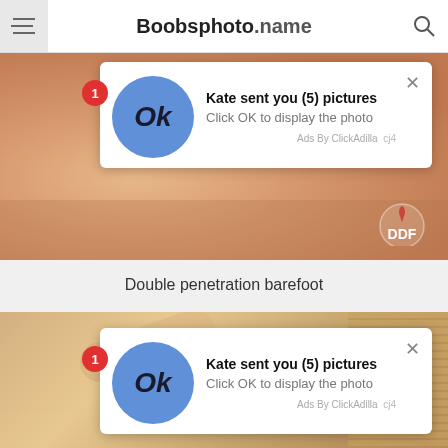Boobsphoto.name
[Figure (photo): Adult content photo with DDF Productions watermark]
Kate sent you (5) pictures
Click OK to display the photo
Ads By ClickAdilla  cj4
Double penetration barefoot
[Figure (photo): Adult content photo]
Kate sent you (5) pictures
Click OK to display the photo
Ads By ClickAdilla  cj4